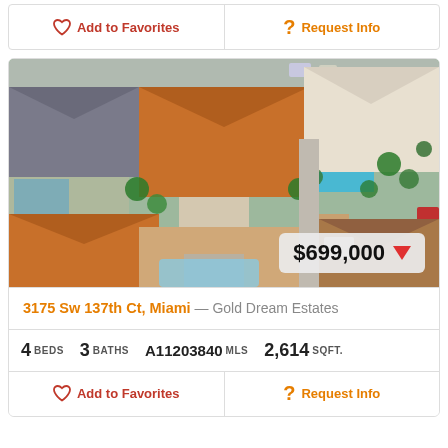Add to Favorites | Request Info
[Figure (photo): Aerial top-down view of a residential neighborhood in Miami showing several houses with terracotta roofs, pools, driveways, and palm trees. Price badge shows $699,000 with a red downward arrow.]
3175 Sw 137th Ct, Miami — Gold Dream Estates
4 BEDS  3 BATHS  A11203840 MLS  2,614 SQFT.
Add to Favorites | Request Info